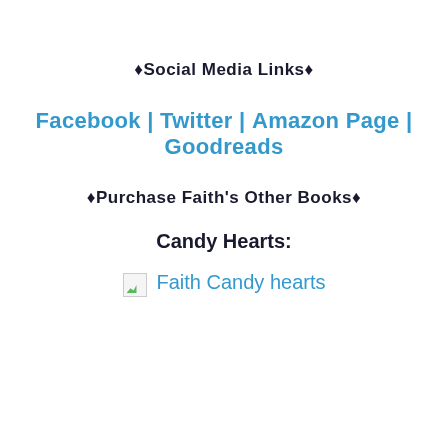♦Social Media Links♦
Facebook | Twitter | Amazon Page | Goodreads
♦Purchase Faith's Other Books♦
Candy Hearts:
[Figure (other): Broken image placeholder with text 'Faith Candy hearts']